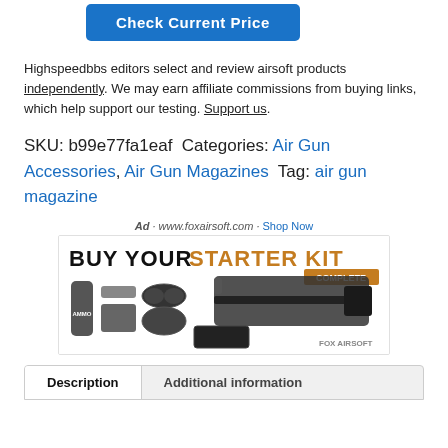[Figure (screenshot): Blue 'Check Current Price' button (partially visible at top)]
Highspeedbbs editors select and review airsoft products independently. We may earn affiliate commissions from buying links, which help support our testing. Support us.
SKU: b99e77fa1eaf Categories: Air Gun Accessories, Air Gun Magazines Tag: air gun magazine
[Figure (photo): Advertisement for foxairsoft.com showing 'BUY YOUR STARTER KIT COMPLETE' with airsoft gun, goggles, mask, ammo bottle, charger, and carrying case]
| Description | Additional information |
| --- | --- |